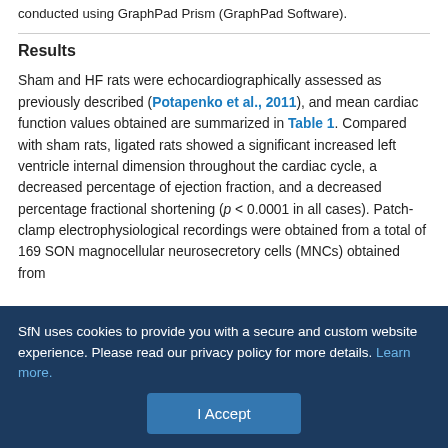conducted using GraphPad Prism (GraphPad Software).
Results
Sham and HF rats were echocardiographically assessed as previously described (Potapenko et al., 2011), and mean cardiac function values obtained are summarized in Table 1. Compared with sham rats, ligated rats showed a significant increased left ventricle internal dimension throughout the cardiac cycle, a decreased percentage of ejection fraction, and a decreased percentage fractional shortening (p < 0.0001 in all cases). Patch-clamp electrophysiological recordings were obtained from a total of 169 SON magnocellular neurosecretory cells (MNCs) obtained from
SfN uses cookies to provide you with a secure and custom website experience. Please read our privacy policy for more details. Learn more